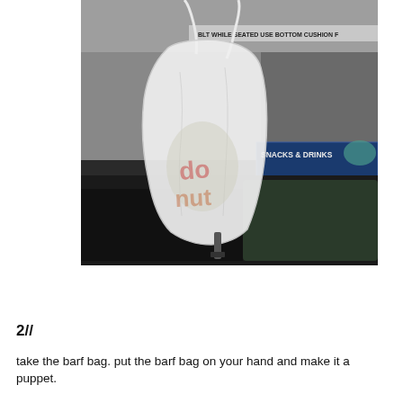[Figure (photo): A white plastic grocery bag hanging from what appears to be an airplane seat, with items inside. In the background, a sign partially reading 'SNACKS & DRINKS' is visible, along with dark bags and airplane seat interior.]
2//
take the barf bag. put the barf bag on your hand and make it a puppet.